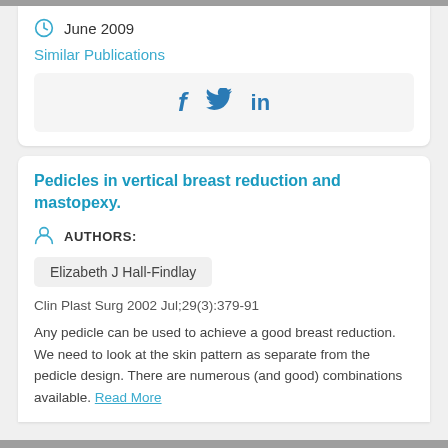June 2009
Similar Publications
[Figure (other): Social sharing icons: Facebook (f), Twitter (bird), LinkedIn (in)]
Pedicles in vertical breast reduction and mastopexy.
AUTHORS:
Elizabeth J Hall-Findlay
Clin Plast Surg 2002 Jul;29(3):379-91
Any pedicle can be used to achieve a good breast reduction. We need to look at the skin pattern as separate from the pedicle design. There are numerous (and good) combinations available. Read More